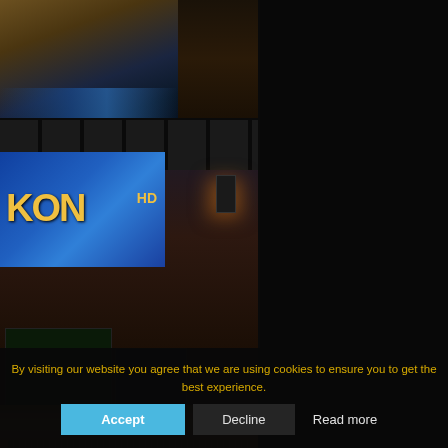[Figure (photo): Top photo of a recording studio interior showing wooden surfaces and blue accent lighting on ceiling]
[Figure (photo): Main photo of a professional recording/broadcast studio control room with mixing console, multiple monitors showing software, large IKON branded screen in background, wall lighting]
[Figure (photo): Dark studio ceiling panel photo]
[Figure (photo): Globe or world graphic with blue glowing light, partial view of studio equipment below]
By visiting our website you agree that we are using cookies to ensure you to get the best experience.
Accept
Decline
Read more